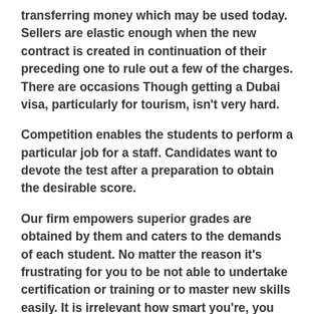transferring money which may be used today. Sellers are elastic enough when the new contract is created in continuation of their preceding one to rule out a few of the charges. There are occasions Though getting a Dubai visa, particularly for tourism, isn't very hard.
Competition enables the students to perform a particular job for a staff. Candidates want to devote the test after a preparation to obtain the desirable score.
Our firm empowers superior grades are obtained by them and caters to the demands of each student. No matter the reason it's frustrating for you to be not able to undertake certification or training or to master new skills easily. It is irrelevant how smart you're, you may encounter complicated and hard UK assignments from time to time during your career.